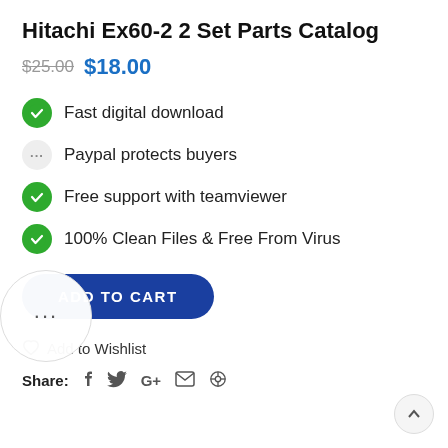Hitachi Ex60-2 2 Set Parts Catalog
$25.00 $18.00
Fast digital download
Paypal protects buyers
Free support with teamviewer
100% Clean Files & Free From Virus
ADD TO CART
Add to Wishlist
Share: f  y  G+  ✉  ⊕